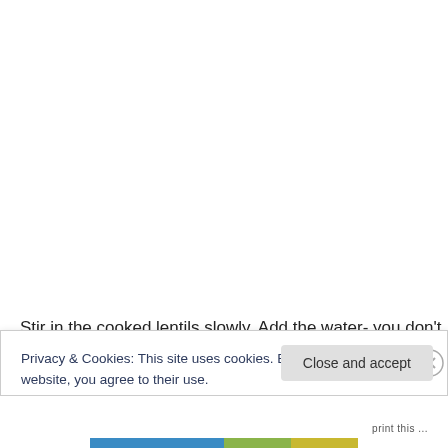Stir in the cooked lentils slowly.  Add the water- you don't
Privacy & Cookies: This site uses cookies. By continuing to use this website, you agree to their use.
To find out more, including how to control cookies, see here: Cookie Policy